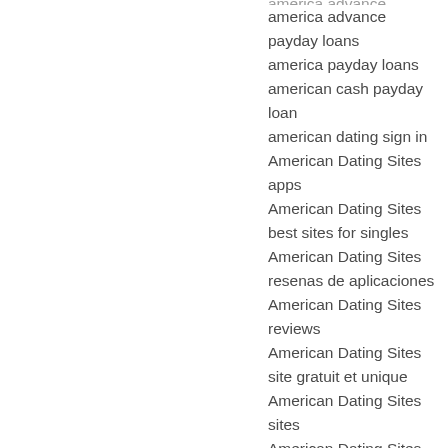america advance payday loan (clipped at top)
america advance payday loans
america payday loans
american cash payday loan
american dating sign in
American Dating Sites apps
American Dating Sites best sites for singles
American Dating Sites resenas de aplicaciones
American Dating Sites reviews
American Dating Sites site gratuit et unique
American Dating Sites sites
American Dating Sites username
American Dating Sites visitors
American Dating Sites witryny dla doroslych
American free lesbian dating websites
american payday loan
american payday loans
american payday loans near me (clipped at bottom)